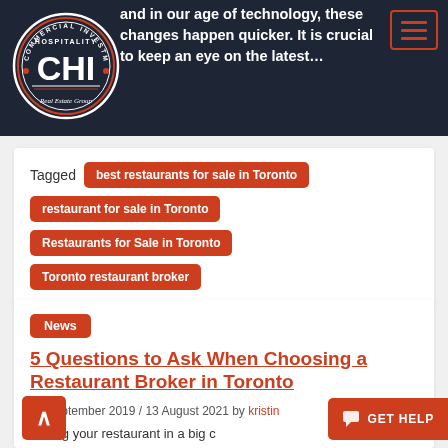[Figure (logo): CHI — Commercial Investment Hospitality Real Estate Group circular badge logo, dark background with red and white text]
and in our age of technology, these changes happen quicker. It is crucial to keep an eye on the latest…
Tagged  best restaurants for sale in Toronto  restaurant for sale in Toronto  Restaurants for Sale in Toronto  Toronto restaurant broker
5 Questions to Ask When Choosing a Restaurant Broker in Toronto
10 September 2019 / 13 August 2021 by kristin
Selling your restaurant in a big city can be an intimidating task to undertake…